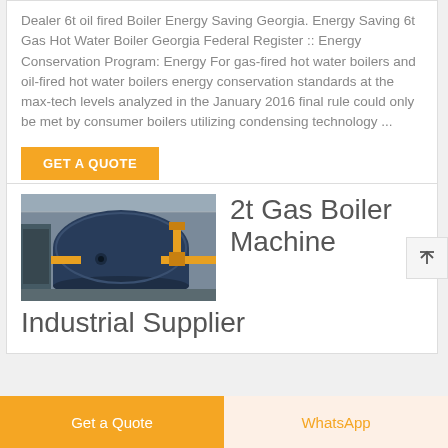Dealer 6t oil fired Boiler Energy Saving Georgia. Energy Saving 6t Gas Hot Water Boiler Georgia Federal Register :: Energy Conservation Program: Energy For gas-fired hot water boilers and oil-fired hot water boilers energy conservation standards at the max-tech levels analyzed in the January 2016 final rule could only be met by consumer boilers utilizing condensing technology ...
GET A QUOTE
[Figure (photo): Industrial gas boiler machine in a factory setting with large cylindrical blue boiler and yellow gas pipes]
2t Gas Boiler Machine Industrial Supplier
Get a Quote
WhatsApp